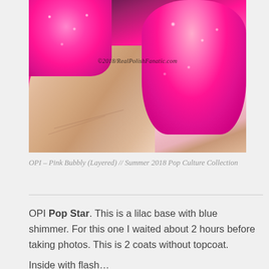[Figure (photo): Close-up macro photo of fingers with bright hot pink/magenta nail polish with shimmer. Watermark text '©2018/RealPolishFanatic.com' overlaid on image.]
OPI – Pink Bubbly (Layered) // Summer 2018 Pop Culture Collection
OPI Pop Star. This is a lilac base with blue shimmer. For this one I waited about 2 hours before taking photos. This is 2 coats without topcoat.
Inside with flash...